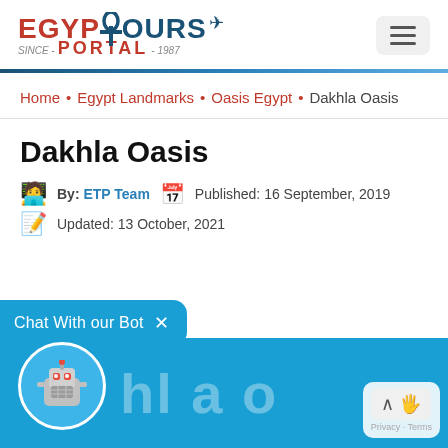[Figure (logo): Egypt Tours Portal logo — EGYPT in red, anchor cross and TOURS in dark blue, plane icon, PORTAL in red with SINCE-1987]
Dakhla Oasis
By: ETP Team  Published: 16 September, 2019
Updated: 13 October, 2021
Home • Egypt Landmarks • Oasis Egypt • Dakhla Oasis
[Figure (screenshot): Chat With our Bot popup with robot avatar and blue banner at bottom]